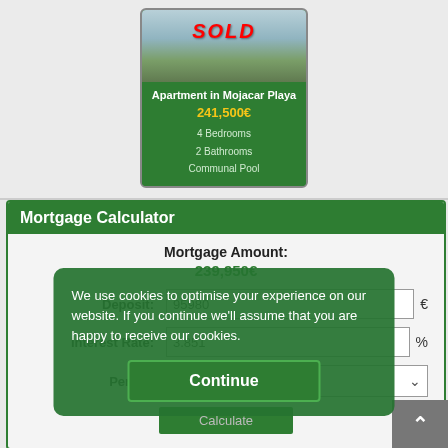[Figure (photo): Property listing card for Apartment in Mojacar Playa with SOLD banner, showing an exterior photo of the property]
Apartment in Mojacar Playa
241,500€
4 Bedrooms
2 Bathrooms
Communal Pool
Mortgage Calculator
Mortgage Amount:
239,950€
Deposit:
95980 €
Interest Rate:
3.851 %
Period:
25 Years
Calculate
We use cookies to optimise your experience on our website. If you continue we'll assume that you are happy to receive our cookies.
Continue